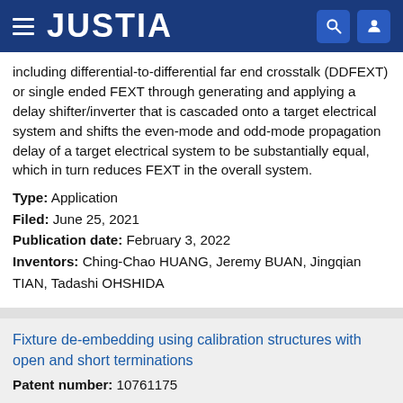JUSTIA
including differential-to-differential far end crosstalk (DDFEXT) or single ended FEXT through generating and applying a delay shifter/inverter that is cascaded onto a target electrical system and shifts the even-mode and odd-mode propagation delay of a target electrical system to be substantially equal, which in turn reduces FEXT in the overall system.
Type: Application
Filed: June 25, 2021
Publication date: February 3, 2022
Inventors: Ching-Chao HUANG, Jeremy BUAN, Jingqian TIAN, Tadashi OHSHIDA
Fixture de-embedding using calibration structures with open and short terminations
Patent number: 10761175